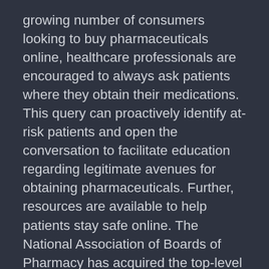growing number of consumers looking to buy pharmaceuticals online, healthcare professionals are encouraged to always ask patients where they obtain their medications. This query can proactively identify at-risk patients and open the conversation to facilitate education regarding legitimate avenues for obtaining pharmaceuticals. Further, resources are available to help patients stay safe online. The National Association of Boards of Pharmacy has acquired the top-level domain name ".pharmacy." Patients need only “look to the right of the dot” to find “.pharmacy” and be confident in the online seller. Other organizations such as the Alliance for Safe Online Pharmacies Global and LegitScript have resources and tools to inform health professionals and keep patients safe when purchasing medication online.